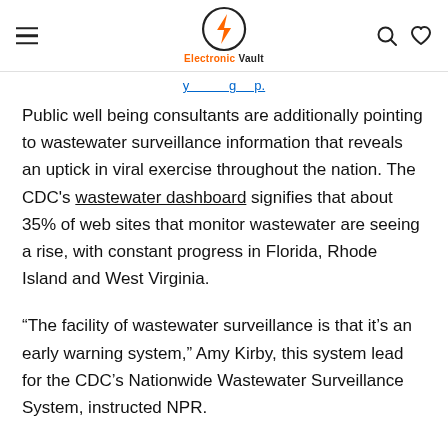Electronic Vault
Public well being consultants are additionally pointing to wastewater surveillance information that reveals an uptick in viral exercise throughout the nation. The CDC's wastewater dashboard signifies that about 35% of web sites that monitor wastewater are seeing a rise, with constant progress in Florida, Rhode Island and West Virginia.
“The facility of wastewater surveillance is that it’s an early warning system,” Amy Kirby, this system lead for the CDC’s Nationwide Wastewater Surveillance System, instructed NPR.